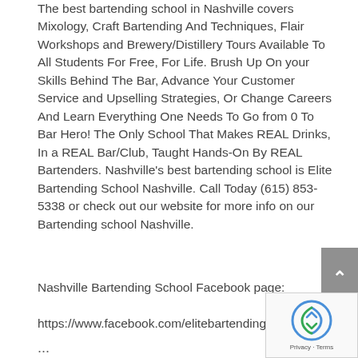The best bartending school in Nashville covers Mixology, Craft Bartending And Techniques, Flair Workshops and Brewery/Distillery Tours Available To All Students For Free, For Life. Brush Up On your Skills Behind The Bar, Advance Your Customer Service and Upselling Strategies, Or Change Careers And Learn Everything One Needs To Go from 0 To Bar Hero! The Only School That Makes REAL Drinks, In a REAL Bar/Club, Taught Hands-On By REAL Bartenders. Nashville's best bartending school is Elite Bartending School Nashville. Call Today (615) 853-5338 or check out our website for more info on our Bartending school Nashville.
Nashville Bartending School Facebook page:
https://www.facebook.com/elitebartendingschoolnashville